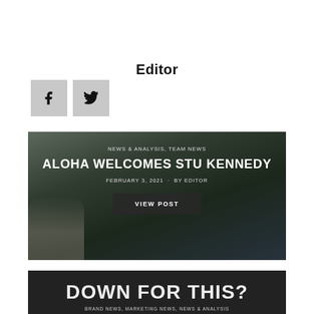Editor
[Figure (illustration): Two social media icon buttons (Facebook and Twitter) with gray square backgrounds]
[Figure (photo): Black and white photo card for 'Aloha Welcomes Stu Kennedy' post. Shows a smiling man seated outdoors with a rocky island backdrop. Overlay text: NEWS & ANALYSIS, TEAM NEWS / ALOHA WELCOMES STU KENNEDY / FEBRUARY 3, 2021 · BY EDITOR / VIEW POST button]
[Figure (photo): Partial card at bottom showing 'DOWN FOR THIS?' text in large bold letters with tag line: BRAND NEWS, MARKETING NEWS, NEWS & ANALYSIS]